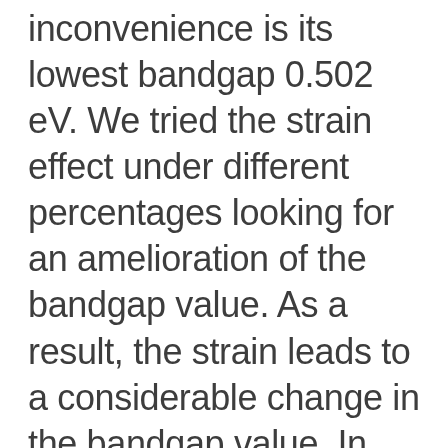inconvenience is its lowest bandgap 0.502 eV. We tried the strain effect under different percentages looking for an amelioration of the bandgap value. As a result, the strain leads to a considerable change in the bandgap value. In addition, we take into account the spin–orbit interaction in the calculations. The tall comes out